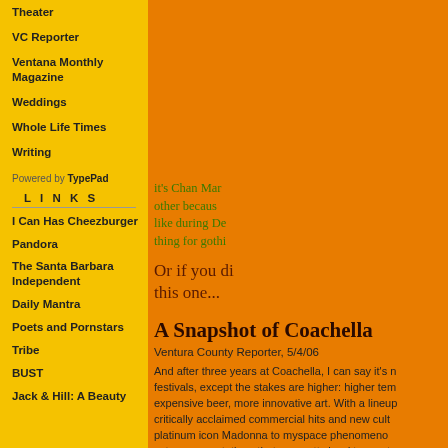Theater
VC Reporter
Ventana Monthly Magazine
Weddings
Whole Life Times
Writing
Powered by TypePad
LINKS
I Can Has Cheezburger
Pandora
The Santa Barbara Independent
Daily Mantra
Poets and Pornstars
Tribe
BUST
Jack & Hill: A Beauty
it's Chan Mar... other because... like during De... thing for gothi...
Or if you di... this one...
A Snapshot of Coachella
Ventura County Reporter, 5/4/06
And after three years at Coachella, I can say it's n... festivals, except the stakes are higher: higher tem... expensive beer, more innovative art. With a lineup... critically acclaimed commercial hits and new cult... platinum icon Madonna to myspace phenomenon... sets up expectations that are pretty hard to meet.
Which is why, every year, I debate whether or not... side? It's hot and sweaty and crowded and exhau...